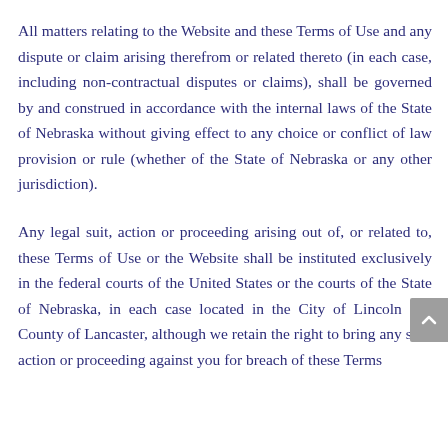All matters relating to the Website and these Terms of Use and any dispute or claim arising therefrom or related thereto (in each case, including non-contractual disputes or claims), shall be governed by and construed in accordance with the internal laws of the State of Nebraska without giving effect to any choice or conflict of law provision or rule (whether of the State of Nebraska or any other jurisdiction).
Any legal suit, action or proceeding arising out of, or related to, these Terms of Use or the Website shall be instituted exclusively in the federal courts of the United States or the courts of the State of Nebraska, in each case located in the City of Lincoln and County of Lancaster, although we retain the right to bring any suit, action or proceeding against you for breach of these Terms